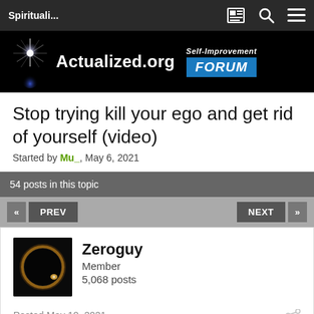Spirituali...
[Figure (logo): Actualized.org Self-Improvement Forum banner logo with starburst icon on black background]
Stop trying kill your ego and get rid of yourself (video)
Started by Mu_, May 6, 2021
54 posts in this topic
« PREV ... NEXT »
Zeroguy
Member
5,068 posts
Posted May 10, 2021